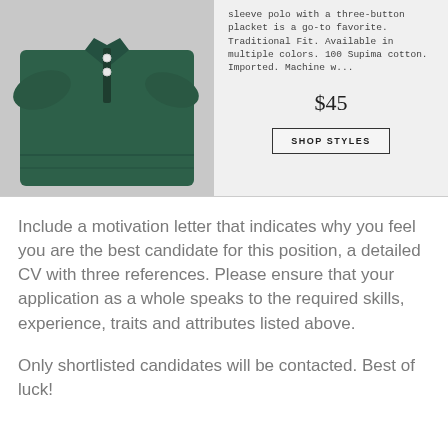[Figure (photo): Folded dark green polo shirt with three-button placket, displayed on a light grey background.]
sleeve polo with a three-button placket is a go-to favorite. Traditional Fit. Available in multiple colors. 100 Supima cotton. Imported. Machine w...
$45
SHOP STYLES
Include a motivation letter that indicates why you feel you are the best candidate for this position, a detailed CV with three references. Please ensure that your application as a whole speaks to the required skills, experience, traits and attributes listed above.
Only shortlisted candidates will be contacted. Best of luck!